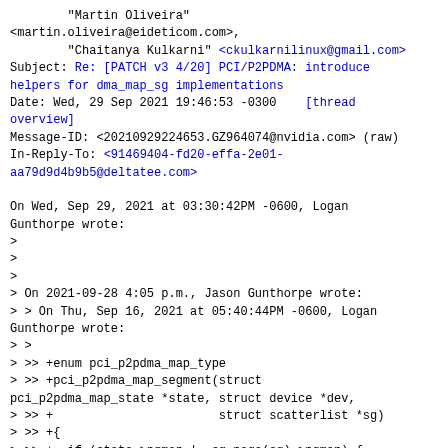"Martin Oliveira" <martin.oliveira@eideticom.com>,
        "Chaitanya Kulkarni" <ckulkarnilinux@gmail.com>
Subject: Re: [PATCH v3 4/20] PCI/P2PDMA: introduce helpers for dma_map_sg implementations
Date: Wed, 29 Sep 2021 19:46:53 -0300    [thread overview]
Message-ID: <20210929224653.GZ964074@nvidia.com> (raw)
In-Reply-To: <91469404-fd20-effa-2e01-aa79d9d4b9b5@deltatee.com>

On Wed, Sep 29, 2021 at 03:30:42PM -0600, Logan Gunthorpe wrote:
>
>
>
> On 2021-09-28 4:05 p.m., Jason Gunthorpe wrote:
> > On Thu, Sep 16, 2021 at 05:40:44PM -0600, Logan Gunthorpe wrote:
> >
> >> +enum pci_p2pdma_map_type
> >> +pci_p2pdma_map_segment(struct pci_p2pdma_map_state *state, struct device *dev,
> >> +                       struct scatterlist *sg)
> >> +{
> >> +  if (state->pgmap != sg_page(sg)->pgmap) {
> >> +          state->pgmap = sg_page(sg)->pgmap;
> >
> > This has built into it an assumption that every page in the sg element